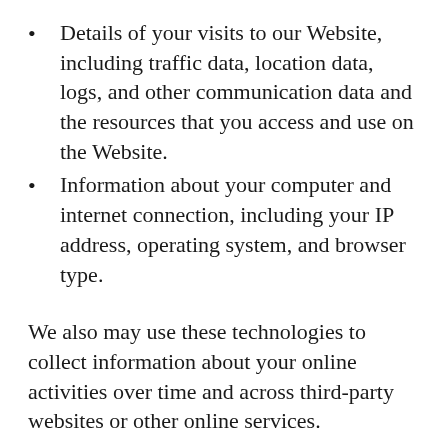Details of your visits to our Website, including traffic data, location data, logs, and other communication data and the resources that you access and use on the Website.
Information about your computer and internet connection, including your IP address, operating system, and browser type.
We also may use these technologies to collect information about your online activities over time and across third-party websites or other online services.
The information we collect automatically includes: